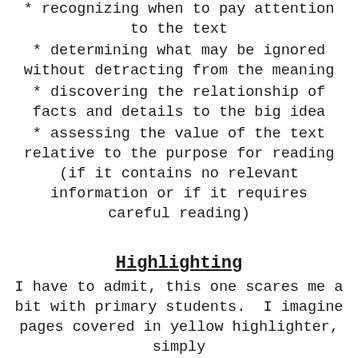* recognizing when to pay attention to the text
* determining what may be ignored without detracting from the meaning
* discovering the relationship of facts and details to the big idea
* assessing the value of the text relative to the purpose for reading (if it contains no relevant information or if it requires careful reading)
Highlighting
I have to admit, this one scares me a bit with primary students. I imagine pages covered in yellow highlighter, simply